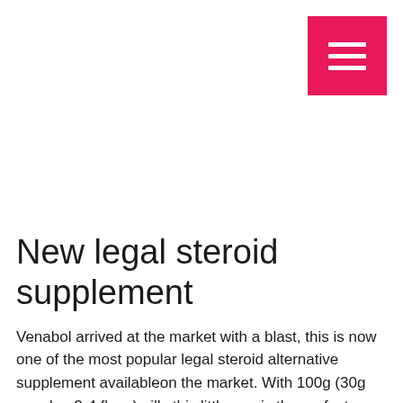[Figure (other): Pink/magenta hamburger menu button (three horizontal white lines on pink background) in top-right corner]
New legal steroid supplement
Venabol arrived at the market with a blast, this is now one of the most popular legal steroid alternative supplement availableon the market. With 100g (30g powder, 3-4 fl. oz) pills this little guy is the perfect "starter" supplement.
As far as its taste and value; it's a very mild taste, and is actually quite nice for you.